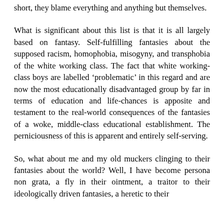short, they blame everything and anything but themselves.
What is significant about this list is that it is all largely based on fantasy. Self-fulfilling fantasies about the supposed racism, homophobia, misogyny, and transphobia of the white working class. The fact that white working-class boys are labelled ‘problematic’ in this regard and are now the most educationally disadvantaged group by far in terms of education and life-chances is apposite and testament to the real-world consequences of the fantasies of a woke, middle-class educational establishment. The perniciousness of this is apparent and entirely self-serving.
So, what about me and my old muckers clinging to their fantasies about the world? Well, I have become persona non grata, a fly in their ointment, a traitor to their ideologically driven fantasies, a heretic to their